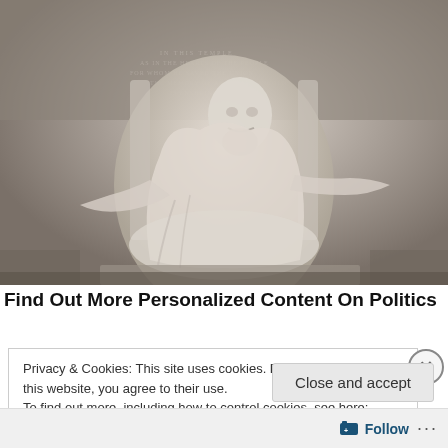[Figure (photo): Black and white / desaturated photograph of the Lincoln Memorial statue — Abraham Lincoln seated on his marble throne, viewed from below at an upward angle. Carved inscriptions visible on the back wall. Dramatic low-angle lighting.]
Find Out More Personalized Content On Politics
Privacy & Cookies: This site uses cookies. By continuing to use this website, you agree to their use.
To find out more, including how to control cookies, see here: Cookie Policy
Close and accept
Follow ...